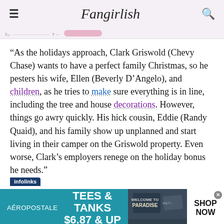Fangirlish
“As the holidays approach, Clark Griswold (Chevy Chase) wants to have a perfect family Christmas, so he pesters his wife, Ellen (Beverly D’Angelo), and children, as he tries to make sure everything is in line, including the tree and house decorations. However, things go awry quickly. His hick cousin, Eddie (Randy Quaid), and his family show up unplanned and start living in their camper on the Griswold property. Even worse, Clark’s employers renege on the holiday bonus he needs.”
[Figure (screenshot): Aeropostale advertisement banner: TEES & TANKS $6.87 & UP with SHOP NOW button]